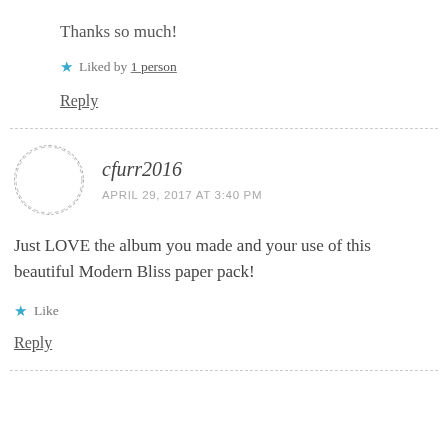Thanks so much!
Liked by 1 person
Reply
cfurr2016
APRIL 29, 2017 AT 3:40 PM
Just LOVE the album you made and your use of this beautiful Modern Bliss paper pack!
Like
Reply